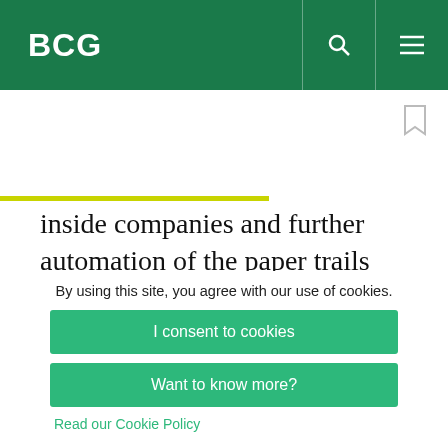BCG
inside companies and further automation of the paper trails needed to satisfy risk and regulatory requirements. Over the longer term, as both technologies mature, companies will use blockchain with IoT to develop and scale new revenue streams. Dynamics will shift as new
By using this site, you agree with our use of cookies.
I consent to cookies
Want to know more?
Read our Cookie Policy